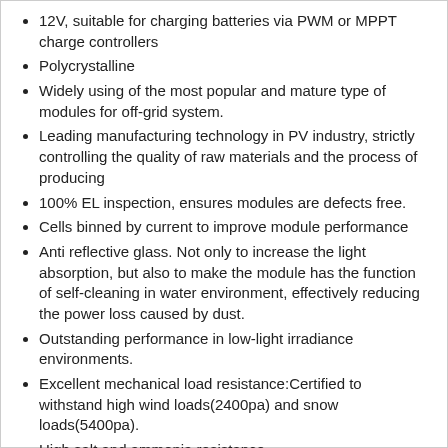12V, suitable for charging batteries via PWM or MPPT charge controllers
Polycrystalline
Widely using of the most popular and mature type of modules for off-grid system.
Leading manufacturing technology in PV industry, strictly controlling the quality of raw materials and the process of producing
100% EL inspection, ensures modules are defects free.
Cells binned by current to improve module performance
Anti reflective glass. Not only to increase the light absorption, but also to make the module has the function of self-cleaning in water environment, effectively reducing the power loss caused by dust.
Outstanding performance in low-light irradiance environments.
Excellent mechanical load resistance:Certified to withstand high wind loads(2400pa) and snow loads(5400pa).
High salt and ammonia resistance